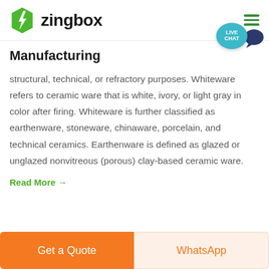zingbox
Manufacturing
structural, technical, or refractory purposes. Whiteware refers to ceramic ware that is white, ivory, or light gray in color after firing. Whiteware is further classified as earthenware, stoneware, chinaware, porcelain, and technical ceramics. Earthenware is defined as glazed or unglazed nonvitreous (porous) clay-based ceramic ware.
Read More →